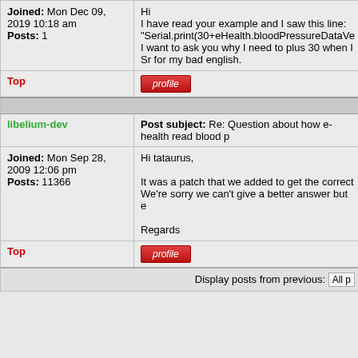Joined: Mon Dec 09, 2019 10:18 am
Posts: 1
Hi
I have read your example and I saw this line: "Serial.print(30+eHealth.bloodPressureDataVe
I want to ask you why I need to plus 30 when I
Sr for my bad english.
Top
[Figure (other): Red profile button]
libelium-dev
Post subject: Re: Question about how e-health read blood p
Joined: Mon Sep 28, 2009 12:06 pm
Posts: 11366
Hi tataurus,

It was a patch that we added to get the correct
We're sorry we can't give a better answer but e

Regards
Top
[Figure (other): Red profile button]
Display posts from previous:  All p